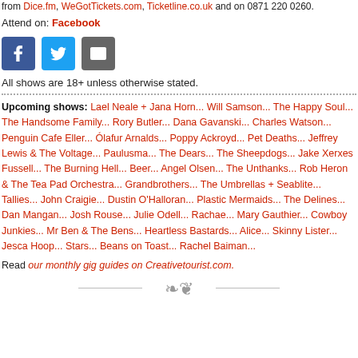from Dice.fm, WeGotTickets.com, Ticketline.co.uk and on 0871 220 0260.
Attend on: Facebook
[Figure (other): Social sharing buttons: Facebook (blue), Twitter (light blue), Email (grey)]
All shows are 18+ unless otherwise stated.
Upcoming shows: Lael Neale + Jana Horn... Will Samson... The Happy Soul... The Handsome Family... Rory Butler... Dana Gavanski... Charles Watson... Penguin Cafe Eller... Ólafur Arnalds... Poppy Ackroyd... Pet Deaths... Jeffrey Lewis & The Voltage... Paulusma... The Dears... The Sheepdogs... Jake Xerxes Fussell... The Burning Hell... Beer... Angel Olsen... The Unthanks... Rob Heron & The Tea Pad Orchestra... Grandbrothers... The Umbrellas + Seablite... Tallies... John Craigie... Dustin O'Halloran... Plastic Mermaids... The Delines... Dan Mangan... Josh Rouse... Julie Odell... Rachael... Mary Gauthier... Cowboy Junkies... Mr Ben & The Bens... Heartless Bastards... Alice... Skinny Lister... Jesca Hoop... Stars... Beans on Toast... Rachel Baiman...
Read our monthly gig guides on Creativetourist.com.